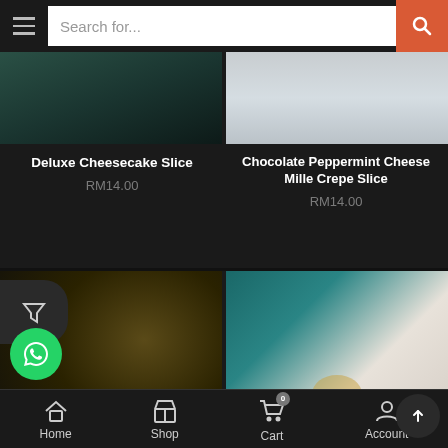[Figure (screenshot): Mobile app search bar with hamburger menu, search field 'Search for...', and orange search button]
[Figure (photo): Deluxe Cheesecake Slice product image showing dark green leaves background]
Deluxe Cheesecake Slice
RM14.00
[Figure (photo): Chocolate Peppermint Cheese Mille Crepe Slice product image showing white plate on grey background]
Chocolate Peppermint Cheese Mille Crepe Slice
RM14.00
[Figure (photo): Sold out product image with dark moody background, showing SOLD OUT banner]
[Figure (photo): Sold out product image with teal and marble background showing dessert on plate, SOLD OUT banner]
Home   Shop   Cart   Account